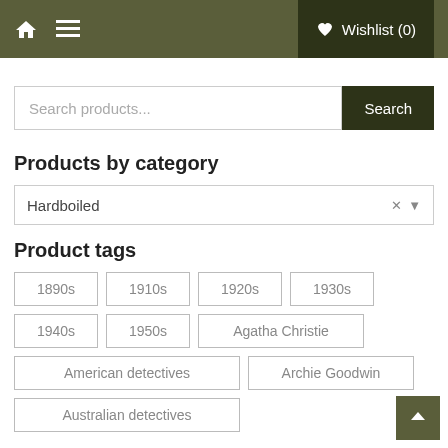Home | Menu | Wishlist (0)
Search products...
Products by category
Hardboiled
Product tags
1890s
1910s
1920s
1930s
1940s
1950s
Agatha Christie
American detectives
Archie Goodwin
Australian detectives